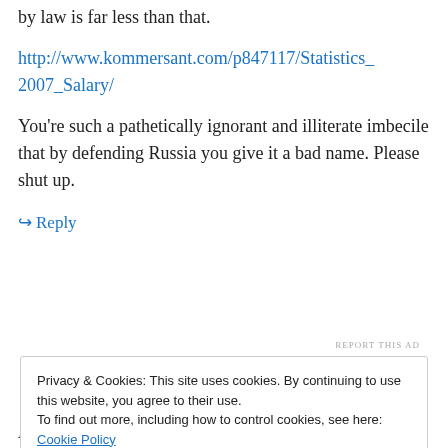by law is far less than that.
http://www.kommersant.com/p847117/Statistics_2007_Salary/
You’re such a pathetically ignorant and illiterate imbecile that by defending Russia you give it a bad name. Please shut up.
↪ Reply
REPORT THIS AD
Privacy & Cookies: This site uses cookies. By continuing to use this website, you agree to their use.
To find out more, including how to control cookies, see here: Cookie Policy
Close and accept
I’d laugh at your pathetic knowledge of what third